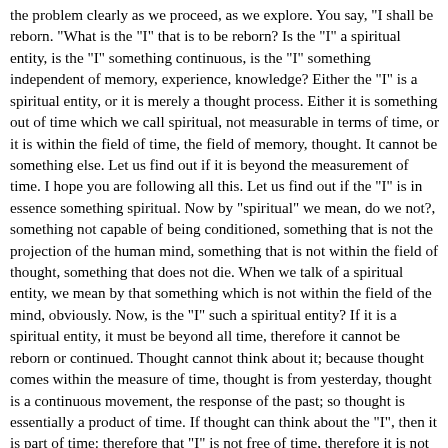the problem clearly as we proceed, as we explore. You say, "I shall be reborn. "What is the "I" that is to be reborn? Is the "I" a spiritual entity, is the "I" something continuous, is the "I" something independent of memory, experience, knowledge? Either the "I" is a spiritual entity, or it is merely a thought process. Either it is something out of time which we call spiritual, not measurable in terms of time, or it is within the field of time, the field of memory, thought. It cannot be something else. Let us find out if it is beyond the measurement of time. I hope you are following all this. Let us find out if the "I" is in essence something spiritual. Now by "spiritual" we mean, do we not?, something not capable of being conditioned, something that is not the projection of the human mind, something that is not within the field of thought, something that does not die. When we talk of a spiritual entity, we mean by that something which is not within the field of the mind, obviously. Now, is the "I" such a spiritual entity? If it is a spiritual entity, it must be beyond all time, therefore it cannot be reborn or continued. Thought cannot think about it; because thought comes within the measure of time, thought is from yesterday, thought is a continuous movement, the response of the past; so thought is essentially a product of time. If thought can think about the "I", then it is part of time: therefore that "I" is not free of time, therefore it is not spiritual - which is obvious. So, the "I", the "you" is only a process of thought; and you want to know whether that process of thought, continuing apart from the physical body, is born again, is